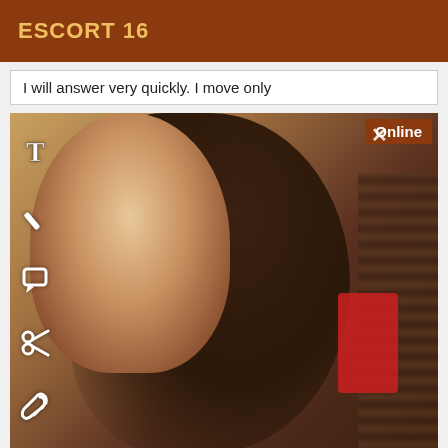ESCORT 16
I will answer very quickly. I move only
[Figure (photo): Close-up photo of a young woman with dark hair, face partially visible, with a red garment visible in the background. Overlaid with editing tool icons on the left side. An 'Online' badge appears in the top-right corner.]